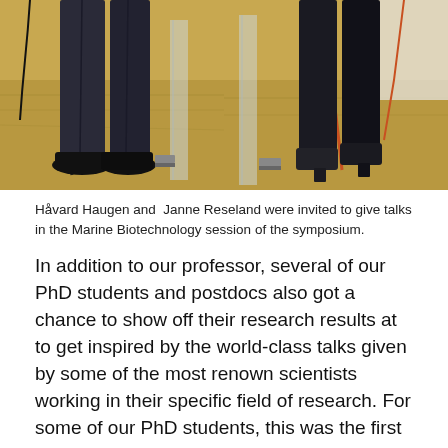[Figure (photo): Two side-by-side photos showing the lower bodies/legs of two presenters standing at podiums with cables on a wooden floor. Left photo shows a person in dark jeans and black shoes; right photo shows a person in dark pants and heeled boots.]
Håvard Haugen and  Janne Reseland were invited to give talks in the Marine Biotechnology session of the symposium.
In addition to our professor, several of our PhD students and postdocs also got a chance to show off their research results at to get inspired by the world-class talks given by some of the most renown scientists working in their specific field of research. For some of our PhD students, this was the first time they had a chance to discuss their research at